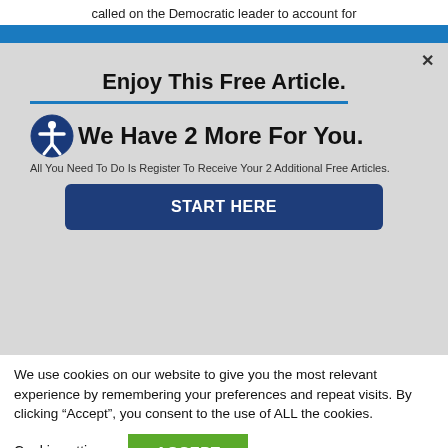called on the Democratic leader to account for
Enjoy This Free Article.
We Have 2 More For You.
All You Need To Do Is Register To Receive Your 2 Additional Free Articles.
START HERE
We use cookies on our website to give you the most relevant experience by remembering your preferences and repeat visits. By clicking “Accept”, you consent to the use of ALL the cookies.
Cookie settings
ACCEPT